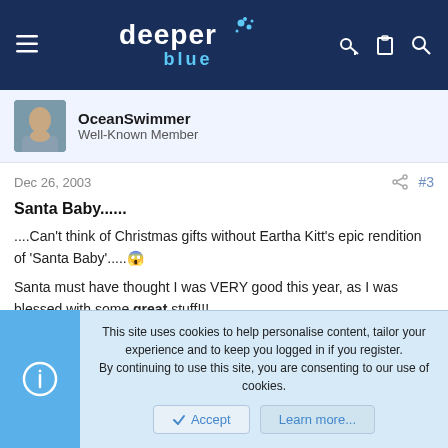deeper blue — site navigation header
OceanSwimmer
Well-Known Member
Dec 26, 2003  #3
Santa Baby......
....Can't think of Christmas gifts without Eartha Kitt's epic rendition of 'Santa Baby'.....😱

Santa must have thought I was VERY good this year, as I was blessed with some great stuff!!!
This site uses cookies to help personalise content, tailor your experience and to keep you logged in if you register.
By continuing to use this site, you are consenting to our use of cookies.
Accept  Learn more...